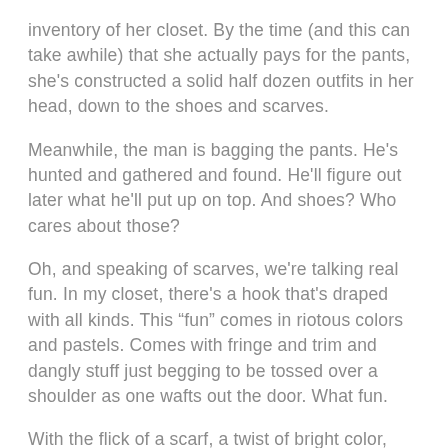inventory of her closet. By the time (and this can take awhile) that she actually pays for the pants, she's constructed a solid half dozen outfits in her head, down to the shoes and scarves.
Meanwhile, the man is bagging the pants. He's hunted and gathered and found. He'll figure out later what he'll put up on top. And shoes? Who cares about those?
Oh, and speaking of scarves, we're talking real fun. In my closet, there's a hook that's draped with all kinds. This “fun” comes in riotous colors and pastels. Comes with fringe and trim and dangly stuff just begging to be tossed over a shoulder as one wafts out the door. What fun.
With the flick of a scarf, a twist of bright color, one can transform an outfit from boring to stellar or create a new one. It really comes down to the scarf. Boy, that’s fun.
It’s inexplicable to me that all of this adventure and happiness escapes The Mister entirely. He’s “happy